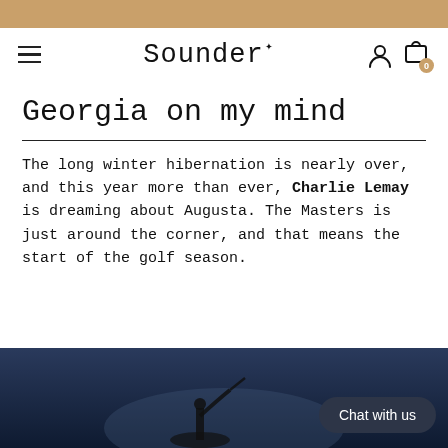Sounder
Georgia on my mind
The long winter hibernation is nearly over, and this year more than ever, Charlie Lemay is dreaming about Augusta. The Masters is just around the corner, and that means the start of the golf season.
[Figure (photo): Dark moody photo of a golfer silhouette at the bottom of the page]
Chat with us